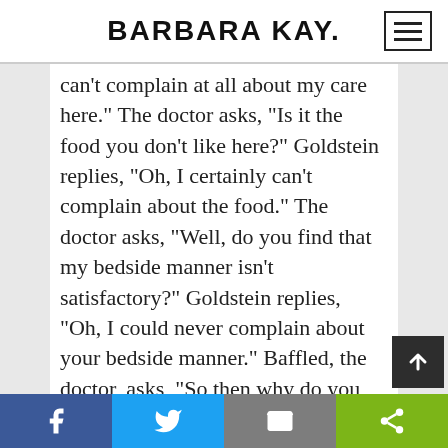BARBARA KAY.
“Are you unhappy with your care here?” Goldstein replies, “Oh, I can’t complain at all about my care here.” The doctor asks, “Is it the food you don’t like here?” Goldstein replies, “Oh, I certainly can’t complain about the food.” The doctor asks, “Well, do you find that my bedside manner isn’t satisfactory?” Goldstein replies, “Oh, I could never complain about your bedside manner.” Baffled, the doctor, asks, “So then why do you…
Facebook | Twitter | Email | Share